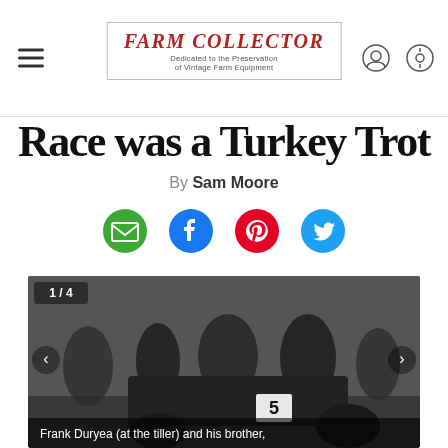Farm Collector — Dedicated to the Preservation of Vintage Farm Equipment
Race was a Turkey Trot
By Sam Moore
[Figure (photo): Black and white historical photograph showing Frank Duryea at the tiller of an early automobile numbered 5, surrounded by a crowd of onlookers. 1/4 image counter shown top left. Navigation arrows on sides. Caption reads: Frank Duryea (at the tiller) and his brother.]